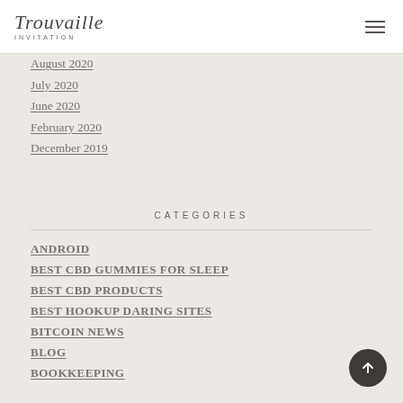Trouvaille INVITATION
August 2020
July 2020
June 2020
February 2020
December 2019
CATEGORIES
ANDROID
BEST CBD GUMMIES FOR SLEEP
BEST CBD PRODUCTS
BEST HOOKUP DARING SITES
BITCOIN NEWS
BLOG
BOOKKEEPING